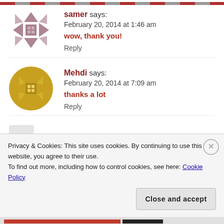samer says:
February 20, 2014 at 1:46 am
wow, thank you!
Reply
[Figure (illustration): Geometric quilt-pattern avatar icon in dusty rose/mauve color for user 'samer']
Mehdi says:
February 20, 2014 at 7:09 am
thanks a lot
Reply
[Figure (illustration): Geometric quilt-pattern avatar icon in golden/olive color for user 'Mehdi']
Privacy & Cookies: This site uses cookies. By continuing to use this website, you agree to their use.
To find out more, including how to control cookies, see here: Cookie Policy
Close and accept